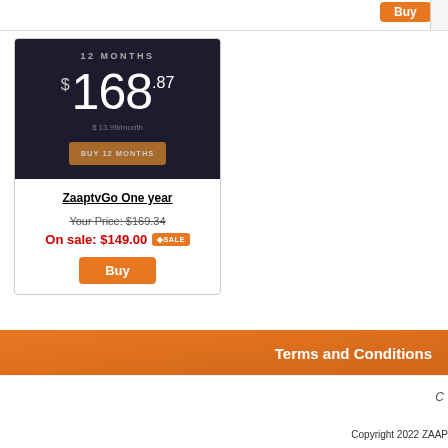[Figure (screenshot): Dark-background pricing box showing 12 MONTHS, $168.87, $13.99/month, and BUY 12 MONTHS button]
ZaaptvGo One year
Your Price: $169.34
On sale: $149.00 •SALE
Buy
Terms and Conditions
C
Copyright 2022 ZAAP